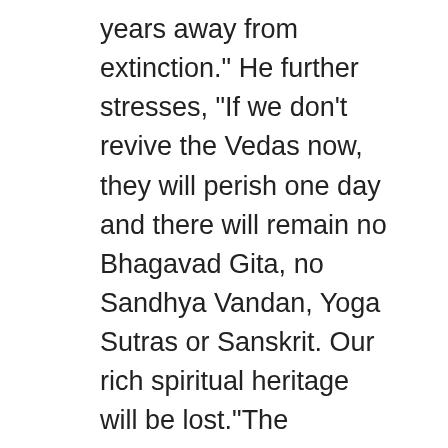years away from extinction." He further stresses, "If we don't revive the Vedas now, they will perish one day and there will remain no Bhagavad Gita, no Sandhya Vandan, Yoga Sutras or Sanskrit. Our rich spiritual heritage will be lost."The handpicked team of Sadhana app includes some of the best artists and award-winning digital creators from countries like France, Germany, Hungary, Argentina, Brazil, Ireland, Spain, Canada, England, Indonesia, Taiwan, Australia and of course, India.
Sadhana app is available for free